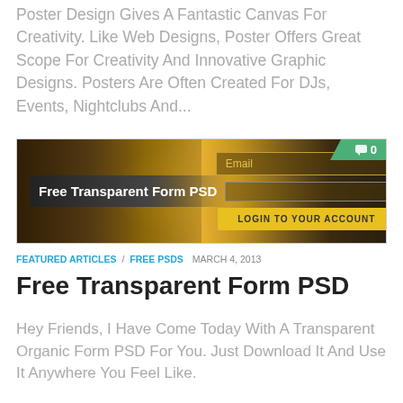Poster Design Gives A Fantastic Canvas For Creativity. Like Web Designs, Poster Offers Great Scope For Creativity And Innovative Graphic Designs. Posters Are Often Created For DJs, Events, Nightclubs And...
[Figure (screenshot): Banner image for Free Transparent Form PSD with golden sunset background, showing an email input field, a password field, a Login To Your Account yellow button on the right side, and a green comment badge showing 0 in the top right corner. Left side shows bold white text 'Free Transparent Form PSD' on a dark banner.]
FEATURED ARTICLES / FREE PSDS   MARCH 4, 2013
Free Transparent Form PSD
Hey Friends, I Have Come Today With A Transparent Organic Form PSD For You. Just Download It And Use It Anywhere You Feel Like.